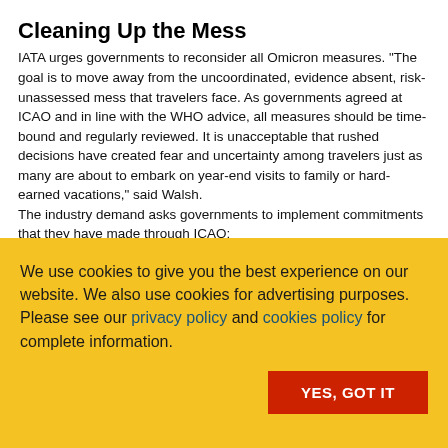Cleaning Up the Mess
IATA urges governments to reconsider all Omicron measures. "The goal is to move away from the uncoordinated, evidence absent, risk-unassessed mess that travelers face. As governments agreed at ICAO and in line with the WHO advice, all measures should be time-bound and regularly reviewed. It is unacceptable that rushed decisions have created fear and uncertainty among travelers just as many are about to embark on year-end visits to family or hard-earned vacations," said Walsh.
The industry demand asks governments to implement commitments that they have made through ICAO:
We use cookies to give you the best experience on our website. We also use cookies for advertising purposes. Please see our privacy policy and cookies policy for complete information.
YES, GOT IT